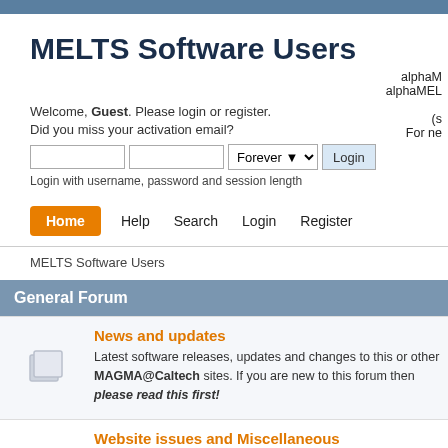MELTS Software Users
Welcome, Guest. Please login or register. Did you miss your activation email?
Login with username, password and session length
alphaM
alphaMEL
(s
For ne
Home  Help  Search  Login  Register
MELTS Software Users
General Forum
News and updates
Latest software releases, updates and changes to this or other MAGMA@Caltech sites. If you are new to this forum then please read this first!
Website issues and Miscellaneous